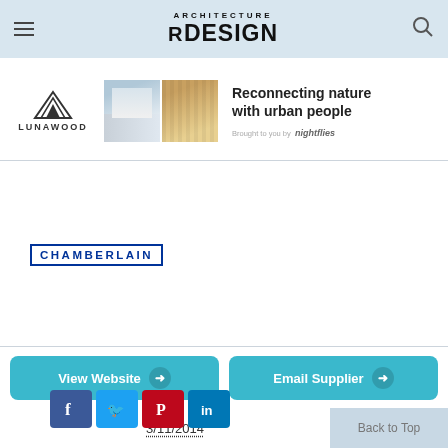Architecture & Design
[Figure (illustration): Lunawood advertisement banner: logo with mountain icon and text 'LUNAWOOD', two photos of wood architecture, headline 'Reconnecting nature with urban people', brought to you by Nightflies]
[Figure (logo): Chamberlain brand logo in dark blue with border]
View Website
Email Supplier
3/11/2014
[Figure (infographic): Social media share buttons: Facebook, Twitter, Pinterest, LinkedIn]